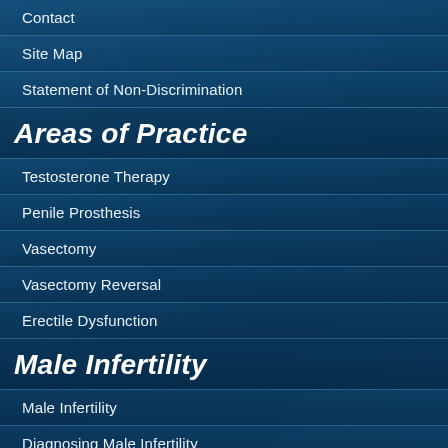Contact
Site Map
Statement of Non-Discrimination
Areas of Practice
Testosterone Therapy
Penile Prosthesis
Vasectomy
Vasectomy Reversal
Erectile Dysfunction
Male Infertility
Male Infertility
Diagnosing Male Infertility
Lack of Sperm Production
Surgical Treatments